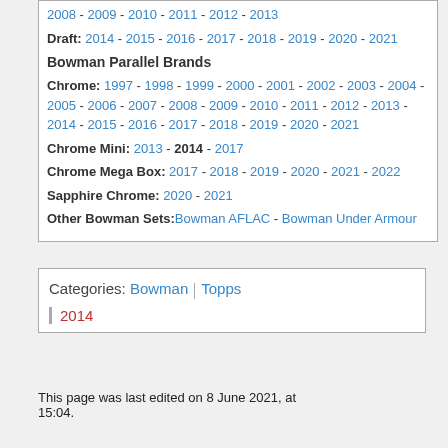2008 - 2009 - 2010 - 2011 - 2012 - 2013
Draft: 2014 - 2015 - 2016 - 2017 - 2018 - 2019 - 2020 - 2021
Bowman Parallel Brands
Chrome: 1997 - 1998 - 1999 - 2000 - 2001 - 2002 - 2003 - 2004 - 2005 - 2006 - 2007 - 2008 - 2009 - 2010 - 2011 - 2012 - 2013 - 2014 - 2015 - 2016 - 2017 - 2018 - 2019 - 2020 - 2021
Chrome Mini: 2013 - 2014 - 2017
Chrome Mega Box: 2017 - 2018 - 2019 - 2020 - 2021 - 2022
Sapphire Chrome: 2020 - 2021
Other Bowman Sets: Bowman AFLAC - Bowman Under Armour
Categories: Bowman | Topps 2014
This page was last edited on 8 June 2021, at 15:04.